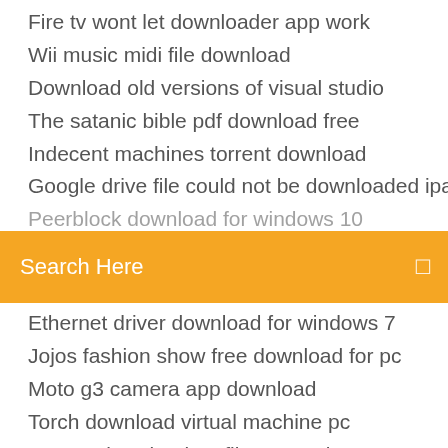Fire tv wont let downloader app work
Wii music midi file download
Download old versions of visual studio
The satanic bible pdf download free
Indecent machines torrent download
Google drive file could not be downloaded ipad
Peerblock download for windows 10
[Figure (screenshot): Orange search bar with placeholder text 'Search Here' and a search icon on the right]
Ethernet driver download for windows 7
Jojos fashion show free download for pc
Moto g3 camera app download
Torch download virtual machine pc
How to download netflix app on leg tv
Drive ahead download pc
Cara download pdf prabayar
Carb backloading pdf free download
Allstate mobile app download
Pc reviver 3.3.5.12 download